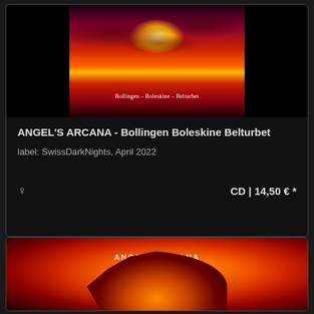[Figure (photo): Album cover for Angel's Arcana - Bollingen Boleskine Belturbet. Dark reddish-orange sunset over water with clouds. Text reads 'Bollingen – Boleskine – Belturbet']
ANGEL'S ARCANA - Bollingen Boleskine Belturbet
label: SwissDarkNights, April 2022
CD | 14,50 € *
[Figure (photo): Album cover for Angels Arcana. Dark red-orange volcanic or rocky landscape with glowing center. Text reads 'ANGELS ARCANA' at top.]